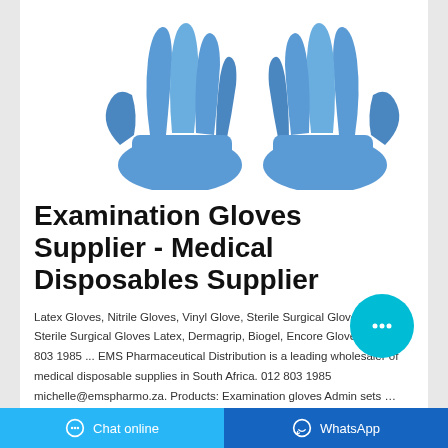[Figure (photo): Two blue nitrile/latex examination gloves displayed palm-forward against a white background]
Examination Gloves Supplier - Medical Disposables Supplier
Latex Gloves, Nitrile Gloves, Vinyl Glove, Sterile Surgical Gloves Latex, Sterile Surgical Gloves Latex, Dermagrip, Biogel, Encore Gloves etc. 012 803 1985 ... EMS Pharmaceutical Distribution is a leading wholesaler of medical disposable supplies in South Africa. 012 803 1985 michelle@emspharmo.za. Products: Examination gloves Admin sets …